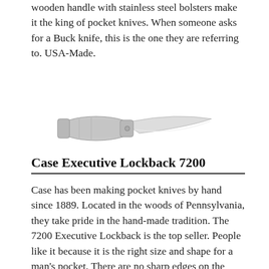wooden handle with stainless steel bolsters make it the king of pocket knives. When someone asks for a Buck knife, this is the one they are referring to. USA-Made.
[Figure (photo): A folding pocket knife with a silver/chrome blade and handle, shown open at an angle against a white background.]
Case Executive Lockback 7200
Case has been making pocket knives by hand since 1889. Located in the woods of Pennsylvania, they take pride in the hand-made tradition. The 7200 Executive Lockback is the top seller. People like it because it is the right size and shape for a man's pocket. There are no sharp edges on the handle to cut into your pocket. The stainless steel blade comes super sharp, and it is easy to keep sharp your whole life. USA-Made.